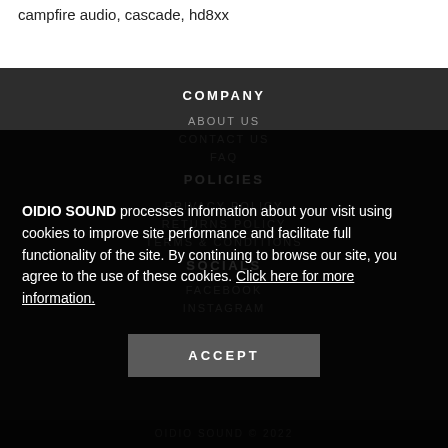campfire audio, cascade, hd8xx
COMPANY
ABOUT US
CONTACT US
FAQ
POLICIES
PRIVACY POLICY
RETURNS POLICY
TERMS & CONDITIONS
SOCIALS
FACEBOOK
INSTAGRAM
OIDIO SOUND processes information about your visit using cookies to improve site performance and facilitate full functionality of the site. By continuing to browse our site, you agree to the use of these cookies. Click here for more information.
ACCEPT
OIDIO SOUND © 2022